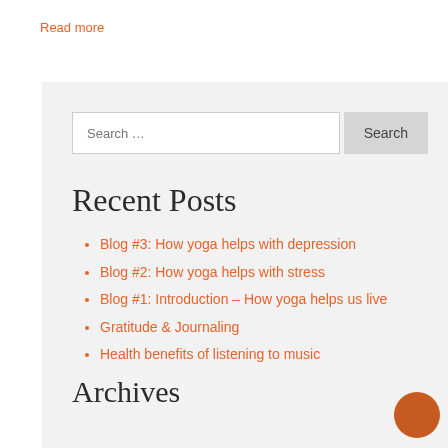Read more
Recent Posts
Blog #3: How yoga helps with depression
Blog #2: How yoga helps with stress
Blog #1: Introduction – How yoga helps us live
Gratitude & Journaling
Health benefits of listening to music
Archives